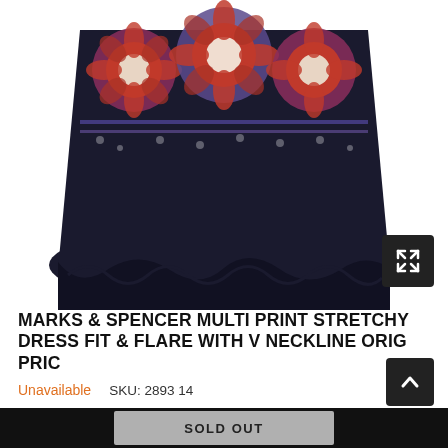[Figure (photo): Partial view of a Marks & Spencer multi-print stretchy dress with floral pattern in red, blue, and black colors, showing the lower portion/hem of the dress on a white background.]
MARKS & SPENCER MULTI PRINT STRETCHY DRESS FIT & FLARE WITH V NECKLINE ORIG PRIC
Unavailable    SKU: 2893 14
£19.99
14 sold in last 13 hours
Welcome To VHoutlet Welcome to The Outlet  Click on the image below to get zoomed view of the item  Product Name: Marks & Spencer Multi Print Stretchy Dress Fit & Flare with V Neckline Orig Price £39